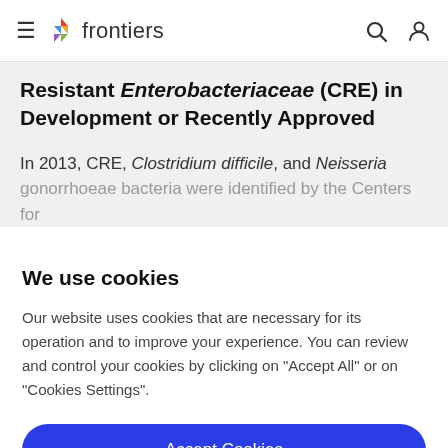frontiers
Resistant Enterobacteriaceae (CRE) in Development or Recently Approved
In 2013, CRE, Clostridium difficile, and Neisseria gonorrhoeae bacteria were identified by the Centers for
We use cookies
Our website uses cookies that are necessary for its operation and to improve your experience. You can review and control your cookies by clicking on "Accept All" or on "Cookies Settings".
Accept Cookies
Cookies Settings